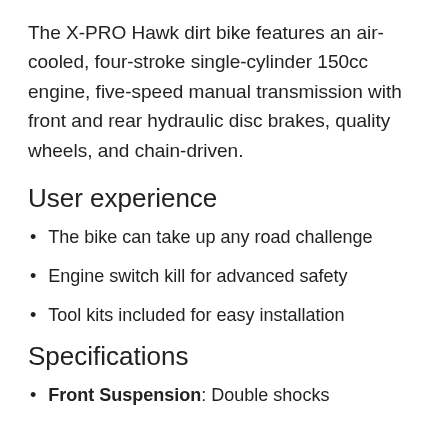The X-PRO Hawk dirt bike features an air-cooled, four-stroke single-cylinder 150cc engine, five-speed manual transmission with front and rear hydraulic disc brakes, quality wheels, and chain-driven.
User experience
The bike can take up any road challenge
Engine switch kill for advanced safety
Tool kits included for easy installation
Specifications
Front Suspension: Double shocks